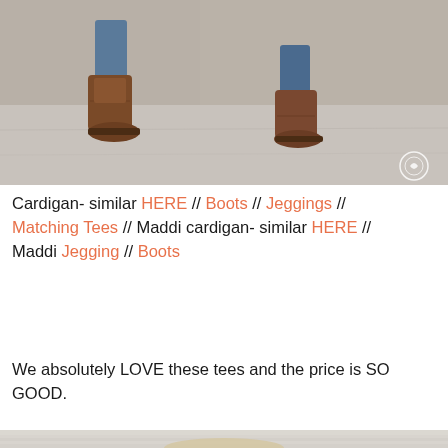[Figure (photo): Photo showing two pairs of legs from knees down wearing brown ankle boots, standing on a concrete/pavement surface. Left person wearing jeans, right person wearing jeans. Watermark circle icon visible lower right.]
Cardigan- similar HERE // Boots // Jeggings // Matching Tees // Maddi cardigan- similar HERE // Maddi Jegging // Boots
We absolutely LOVE these tees and the price is SO GOOD.
[Figure (photo): Photo of a young blonde woman with curly braided hair, smiling, wearing a white t-shirt under a blue-grey knit cardigan, standing in front of a white weathered painted wood wall/fence.]